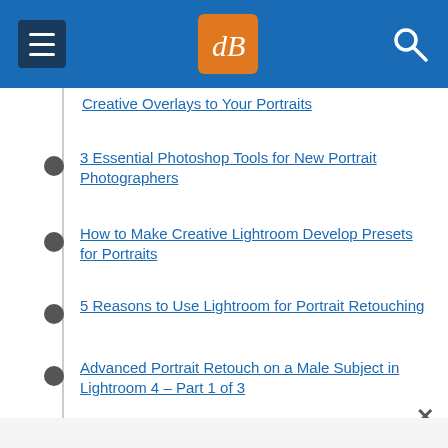dPS (digital Photography School) navigation header
Creative Overlays to Your Portraits
3 Essential Photoshop Tools for New Portrait Photographers
How to Make Creative Lightroom Develop Presets for Portraits
5 Reasons to Use Lightroom for Portrait Retouching
Advanced Portrait Retouch on a Male Subject in Lightroom 4 – Part 1 of 3
3 Ways to Make Selective Color Portraits Using Lightroom and Silver Efex Pro 2